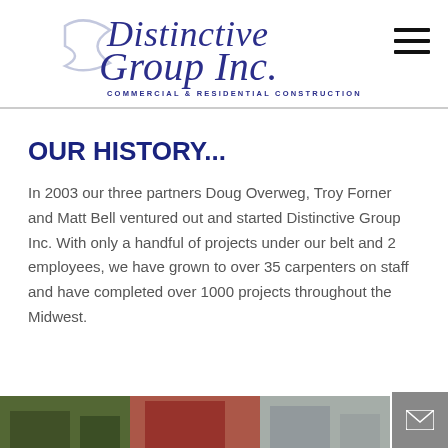[Figure (logo): Distinctive Group Inc. logo with stylized cursive text and tagline 'Commercial & Residential Construction']
OUR HISTORY...
In 2003 our three partners Doug Overweg, Troy Forner and Matt Bell ventured out and started Distinctive Group Inc. With only a handful of projects under our belt and 2 employees, we have grown to over 35 carpenters on staff and have completed over 1000 projects throughout the Midwest.
[Figure (photo): Partial view of a building exterior at the bottom of the page]